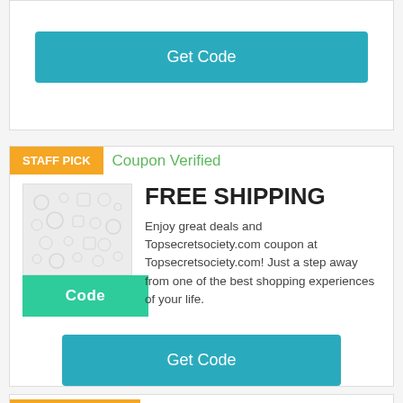[Figure (other): Get Code button (teal/blue) at top of page, partially visible card]
[Figure (other): Staff Pick badge (orange), Coupon Verified text (green), thumbnail image with Code button (teal), FREE SHIPPING title, deal description text, and Get Code button]
Coupon Verified
FREE SHIPPING
Enjoy great deals and Topsecretsociety.com coupon at Topsecretsociety.com! Just a step away from one of the best shopping experiences of your life.
[Figure (other): Bottom card partially visible with orange Staff Pick badge and green Coupon Verified text]